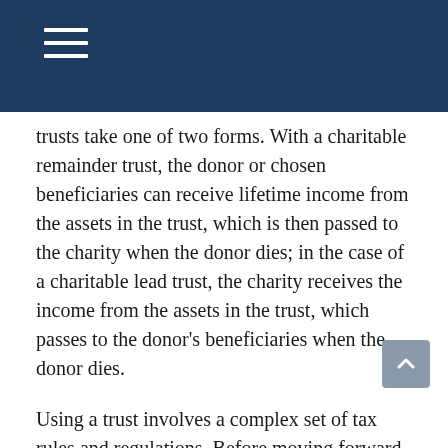trusts take one of two forms. With a charitable remainder trust, the donor or chosen beneficiaries can receive lifetime income from the assets in the trust, which is then passed to the charity when the donor dies; in the case of a charitable lead trust, the charity receives the income from the assets in the trust, which passes to the donor's beneficiaries when the donor dies.
Using a trust involves a complex set of tax rules and regulations. Before moving forward with a trust, consider working with a professional who is familiar with these rules and regulations.
Donor-advised funds are funds administered by a charity that a donor can make irrevocable contributions to. This gift may have tax considerations, which is another benefit. The donor also can recommend that the fund make distributions